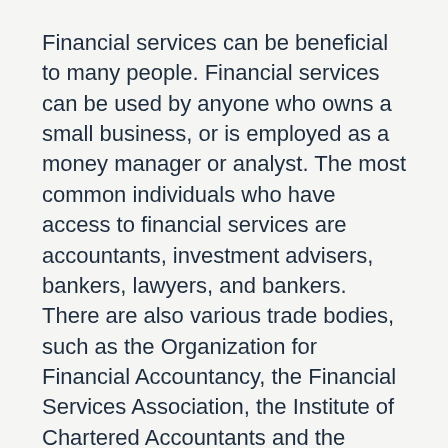Financial services can be beneficial to many people. Financial services can be used by anyone who owns a small business, or is employed as a money manager or analyst. The most common individuals who have access to financial services are accountants, investment advisers, bankers, lawyers, and bankers. There are also various trade bodies, such as the Organization for Financial Accountancy, the Financial Services Association, the Institute of Chartered Accountants and the Accountants Association.
The corporate sector is the second most important sector within the finance industry. Corporate finance refers to any activity that helps private companies save their money. It can support mergers and purchases, funding research, development, and restructuring of existing